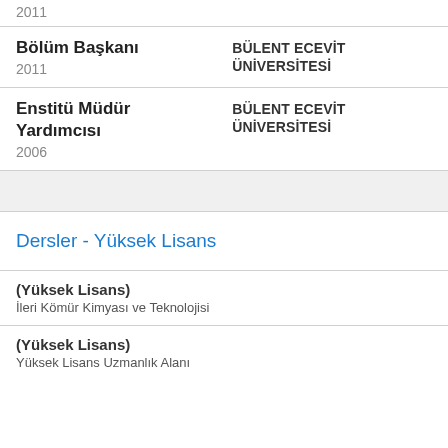2011
Bölüm Başkanı
2011
BÜLENT ECEVİT ÜNİVERSİTESİ
Enstitü Müdür Yardımcısı
2006
BÜLENT ECEVİT ÜNİVERSİTESİ
Dersler - Yüksek Lisans
(Yüksek Lisans)
İleri Kömür Kimyası ve Teknolojisi
(Yüksek Lisans)
Yüksek Lisans Uzmanlık Alanı